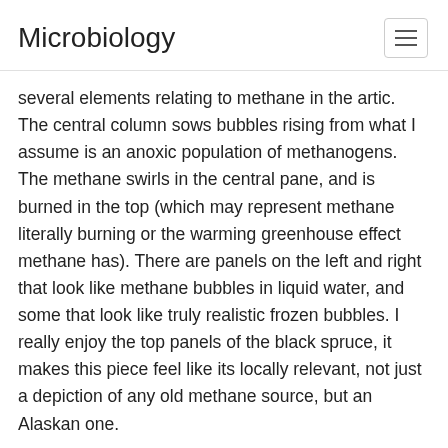Microbiology
several elements relating to methane in the artic. The central column sows bubbles rising from what I assume is an anoxic population of methanogens. The methane swirls in the central pane, and is burned in the top (which may represent methane literally burning or the warming greenhouse effect methane has). There are panels on the left and right that look like methane bubbles in liquid water, and some that look like truly realistic frozen bubbles. I really enjoy the top panels of the black spruce, it makes this piece feel like its locally relevant, not just a depiction of any old methane source, but an Alaskan one.
4) If I was going to present an art piece at this exhibit I